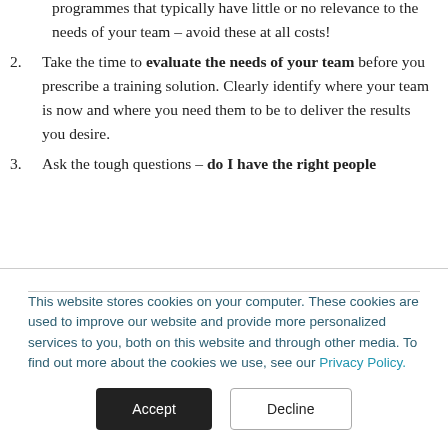companies simply choose off-the-shelf generic training programmes that typically have little or no relevance to the needs of your team – avoid these at all costs!
2. Take the time to evaluate the needs of your team before you prescribe a training solution. Clearly identify where your team is now and where you need them to be to deliver the results you desire.
3. Ask the tough questions – do I have the right people
This website stores cookies on your computer. These cookies are used to improve our website and provide more personalized services to you, both on this website and through other media. To find out more about the cookies we use, see our Privacy Policy.